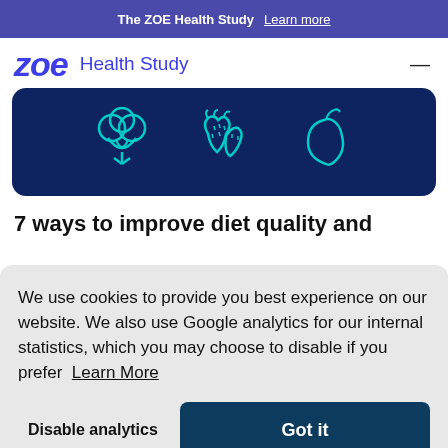The ZOE Health Study  Learn more
[Figure (logo): ZOE Health Study logo with italic bold 'zoe' in blue and 'Health Study' text]
[Figure (illustration): Dark navy rounded banner with three teal outline icons: broccoli/cabbage, two strawberries, and a mango]
7 ways to improve diet quality and
We use cookies to provide you best experience on our website. We also use Google analytics for our internal statistics, which you may choose to disable if you prefer  Learn More
Disable analytics    Got it